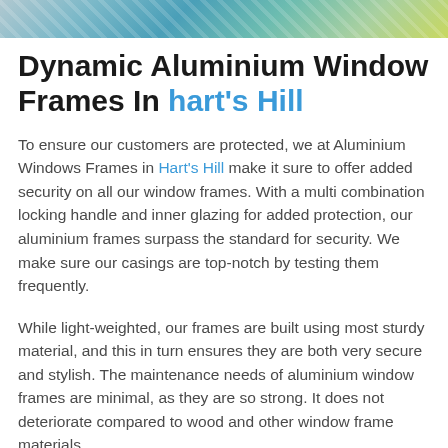[Figure (photo): Colorful decorative image strip at top of page]
Dynamic Aluminium Window Frames In hart's Hill
To ensure our customers are protected, we at Aluminium Windows Frames in Hart's Hill make it sure to offer added security on all our window frames. With a multi combination locking handle and inner glazing for added protection, our aluminium frames surpass the standard for security. We make sure our casings are top-notch by testing them frequently.
While light-weighted, our frames are built using most sturdy material, and this in turn ensures they are both very secure and stylish. The maintenance needs of aluminium window frames are minimal, as they are so strong. It does not deteriorate compared to wood and other window frame materials.